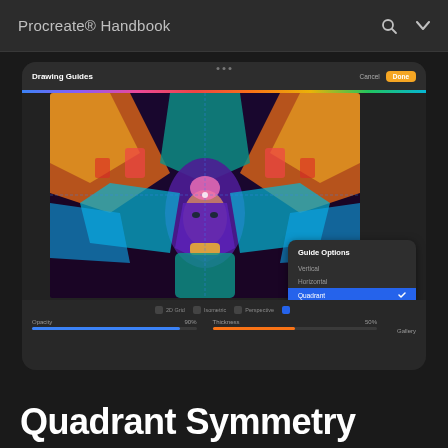Procreate® Handbook
[Figure (screenshot): Procreate Drawing Guides interface showing Quadrant symmetry option selected in Guide Options panel, with a colorful symmetrical digital artwork of a woman with mechanical headdress displayed in the canvas. Controls include Opacity and Thickness sliders, Rotational Symmetry toggle (off), Assisted Drawing toggle (on), and mode tabs for 2D Grid, Isometric, Perspective.]
Quadrant Symmetry